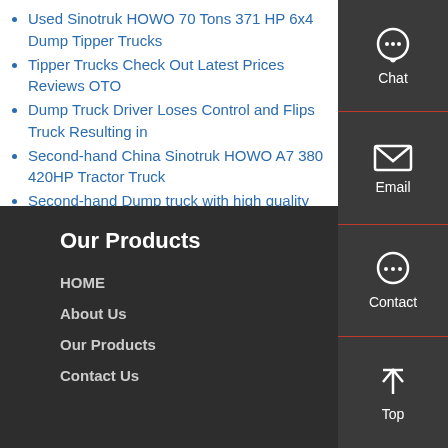Used Sinotruk HOWO 70 Tons 371 HP 6x4 Dump Tipper Trucks
Tipper Trucks Check Out Latest Prices Reviews OTO
Dump Truck Driver Loses Control and Flips Truck Resulting in
Second-hand China Sinotruk HOWO A7 380 420HP Tractor Truck
Second-hand Dump truck with high quality
Well Condition 8X4 Dumper Trucks for Sales
Our Products
HOME
About Us
Our Products
Contact Us